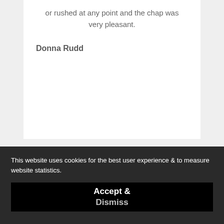or rushed at any point and the chap was very pleasant.
Donna Rudd
This website uses cookies for the best user experience & to measure website statistics.
Accept & Dismiss